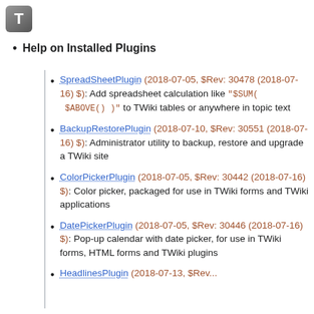[Figure (logo): Gray rounded square logo with letter T]
Help on Installed Plugins
SpreadSheetPlugin (2018-07-05, $Rev: 30478 (2018-07-16) $): Add spreadsheet calculation like "$SUM( $ABOVE() )" to TWiki tables or anywhere in topic text
BackupRestorePlugin (2018-07-10, $Rev: 30551 (2018-07-16) $): Administrator utility to backup, restore and upgrade a TWiki site
ColorPickerPlugin (2018-07-05, $Rev: 30442 (2018-07-16) $): Color picker, packaged for use in TWiki forms and TWiki applications
DatePickerPlugin (2018-07-05, $Rev: 30446 (2018-07-16) $): Pop-up calendar with date picker, for use in TWiki forms, HTML forms and TWiki plugins
HeadlinesPlugin (2018-07-13, $Rev...